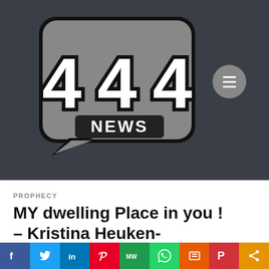[Figure (logo): 444 News logo: gray speech bubble shape with bold white block letters '444' and 'NEWS' written below, dark outline styling, on dark charcoal background]
PROPHECY
MY dwelling Place in you ! – Kristina Heuken-
[Figure (infographic): Social sharing bar with icons: Facebook (f), Twitter (bird), LinkedIn (in), Pinterest (P), MeWe (MW), WhatsApp (phone), Print (printer), Parler (P), Share (<)]